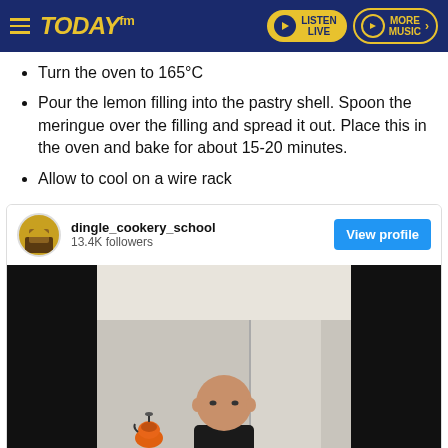TODAY fm – LISTEN LIVE | MORE MUSIC
Turn the oven to 165°C
Pour the lemon filling into the pastry shell. Spoon the meringue over the filling and spread it out. Place this in the oven and bake for about 15-20 minutes.
Allow to cool on a wire rack
[Figure (screenshot): Instagram embed card showing dingle_cookery_school account with 13.4K followers, a View profile button, and a video frame showing a bald man in a kitchen with an orange kettle on a counter.]